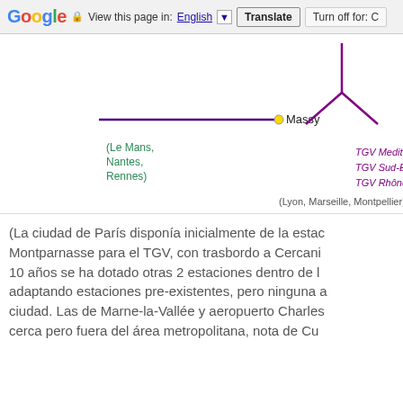Google  View this page in: English [▼]  Translate  Turn off for: C
[Figure (network-graph): Partial TGV network diagram showing routes. Left side shows a dark purple line with a yellow dot labeled 'Massy' and destination text '(Le Mans, Nantes, Rennes)'. Right side shows a purple Y-shaped junction with labels 'TGV Mediterran...', 'TGV Sud-Est', 'TGV Rhône-Alpes' and '(Lyon, Marseille, Montpellier)'.]
(La ciudad de París disponía inicialmente de la estac... Montparnasse para el TGV, con trasbordo a Cercani... 10 años se ha dotado otras 2 estaciones dentro de l... adaptando estaciones pre-existentes, pero ninguna ... ciudad. Las de Marne-la-Vallée y aeropuerto Charles... cerca pero fuera del área metropolitana, nota de Cu...